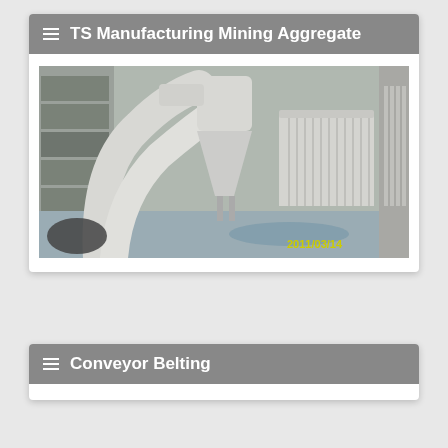TS Manufacturing Mining Aggregate
[Figure (photo): Industrial dust collection / cyclone separator equipment in a manufacturing facility. Large white curved pipes/ducts, a conical cyclone separator unit, and a rectangular filter unit visible. Timestamp 2011/03/14 in yellow.]
Conveyor Belting